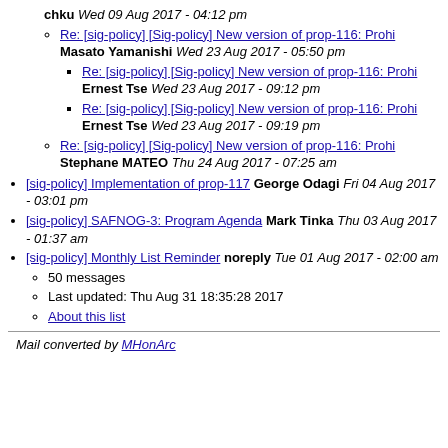chku Wed 09 Aug 2017 - 04:12 pm
Re: [sig-policy] [Sig-policy] New version of prop-116: Prohi Masato Yamanishi Wed 23 Aug 2017 - 05:50 pm
Re: [sig-policy] [Sig-policy] New version of prop-116: Prohi Ernest Tse Wed 23 Aug 2017 - 09:12 pm
Re: [sig-policy] [Sig-policy] New version of prop-116: Prohi Ernest Tse Wed 23 Aug 2017 - 09:19 pm
Re: [sig-policy] [Sig-policy] New version of prop-116: Prohi Stephane MATEO Thu 24 Aug 2017 - 07:25 am
[sig-policy] Implementation of prop-117 George Odagi Fri 04 Aug 2017 - 03:01 pm
[sig-policy] SAFNOG-3: Program Agenda Mark Tinka Thu 03 Aug 2017 - 01:37 am
[sig-policy] Monthly List Reminder noreply Tue 01 Aug 2017 - 02:00 am
50 messages
Last updated: Thu Aug 31 18:35:28 2017
About this list
Mail converted by MHonArc